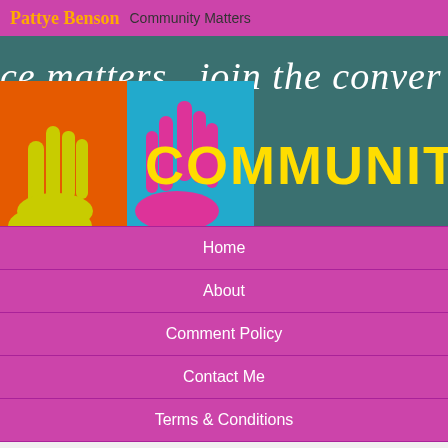Pattye Benson   Community Matters
[Figure (illustration): Blog banner showing 'ce matters...join the conver' in italic script on teal background, with orange and cyan panels showing raised hand silhouettes, and 'COMMUNIT' in bold yellow text on the right]
Home
About
Comment Policy
Contact Me
Terms & Conditions
Historic Preservation
[Figure (illustration): Partial image at bottom of page, cropped]